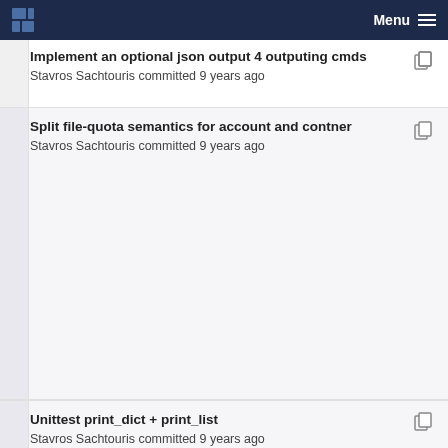Menu
Implement an optional json output 4 outputing cmds
Stavros Sachtouris committed 9 years ago
Split file-quota semantics for account and contner
Stavros Sachtouris committed 9 years ago
Implement an optional json output 4 outputing cmds
Stavros Sachtouris committed 9 years ago
Unittest print_dict + print_list
Stavros Sachtouris committed 9 years ago